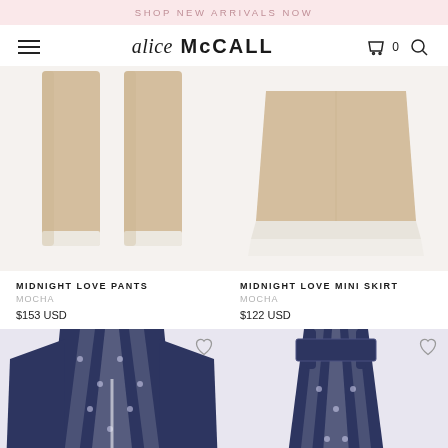SHOP NEW ARRIVALS NOW
[Figure (screenshot): alice McCall brand logo with hamburger menu, cart (0) and search icons]
[Figure (photo): Beige wide-leg pants (Midnight Love Pants in Mocha)]
[Figure (photo): Beige mini skirt with white hem (Midnight Love Mini Skirt in Mocha)]
MIDNIGHT LOVE PANTS
MOCHA
$153 USD
MIDNIGHT LOVE MINI SKIRT
MOCHA
$122 USD
[Figure (photo): Navy and white floral chevron print long-sleeve top]
[Figure (photo): Navy and white floral chevron print midi dress with shoulder ties]